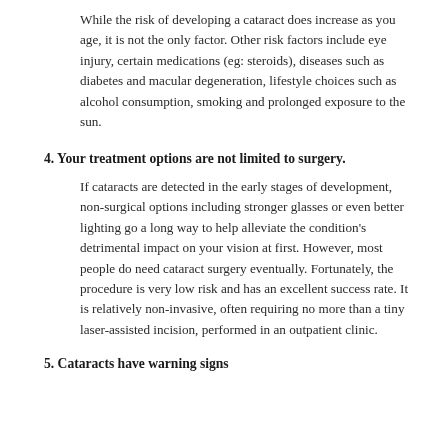While the risk of developing a cataract does increase as you age, it is not the only factor. Other risk factors include eye injury, certain medications (eg: steroids), diseases such as diabetes and macular degeneration, lifestyle choices such as alcohol consumption, smoking and prolonged exposure to the sun.
4. Your treatment options are not limited to surgery.
If cataracts are detected in the early stages of development, non-surgical options including stronger glasses or even better lighting go a long way to help alleviate the condition's detrimental impact on your vision at first. However, most people do need cataract surgery eventually. Fortunately, the procedure is very low risk and has an excellent success rate. It is relatively non-invasive, often requiring no more than a tiny laser-assisted incision, performed in an outpatient clinic.
5. Cataracts have warning signs